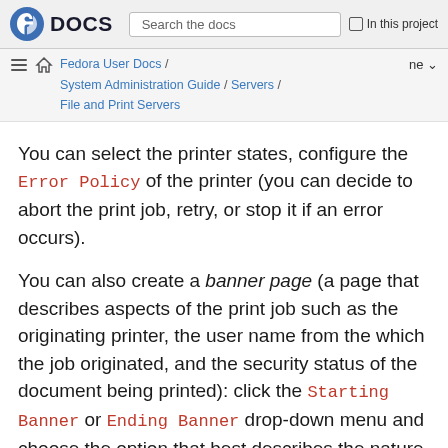Fedora DOCS | Search the docs | In this project
Fedora User Docs / System Administration Guide / Servers / File and Print Servers
You can select the printer states, configure the Error Policy of the printer (you can decide to abort the print job, retry, or stop it if an error occurs).
You can also create a banner page (a page that describes aspects of the print job such as the originating printer, the user name from the which the job originated, and the security status of the document being printed): click the Starting Banner or Ending Banner drop-down menu and choose the option that best describes the nature of the print jobs (for example, confidential).